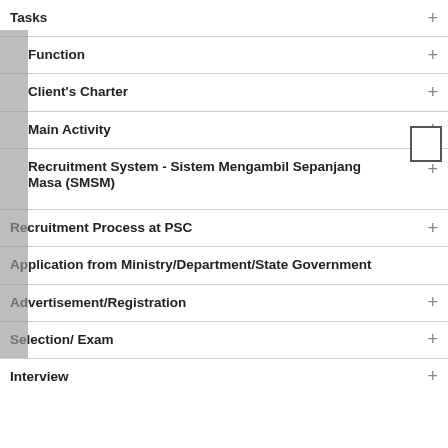Tasks
Function
Client's Charter
Main Activity
Recruitment System - Sistem Mengambil Sepanjang Masa (SMSM)
Recruitment Process at PSC
Application from Ministry/Department/State Government
Advertisement/Registration
Selection/ Exam
Interview